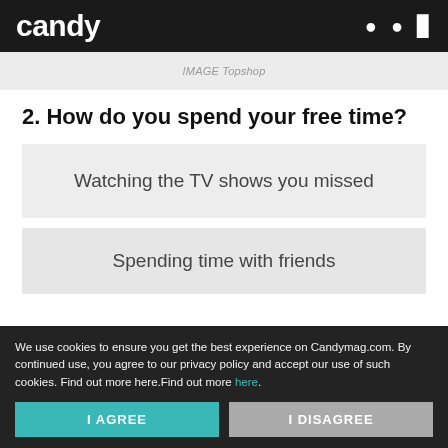candy
IMAGE Topshop
2. How do you spend your free time?
Watching the TV shows you missed
Spending time with friends
We use cookies to ensure you get the best experience on Candymag.com. By continued use, you agree to our privacy policy and accept our use of such cookies. Find out more here.Find out more here.
I AGREE
I DISAGREE